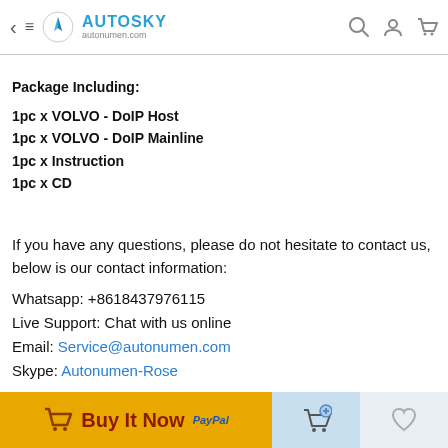AUTOSKY autonumen.com
Package Including:
1pc x VOLVO - DoIP Host
1pc x VOLVO - DoIP Mainline
1pc x Instruction
1pc x CD
If you have any questions, please do not hesitate to contact us, below is our contact information:
Whatsapp: +8618437976115
Live Support: Chat with us online
Email: Service@autonumen.com
Skype: Autonumen-Rose
Buy It Now | PayPal | Add to cart | Wishlist